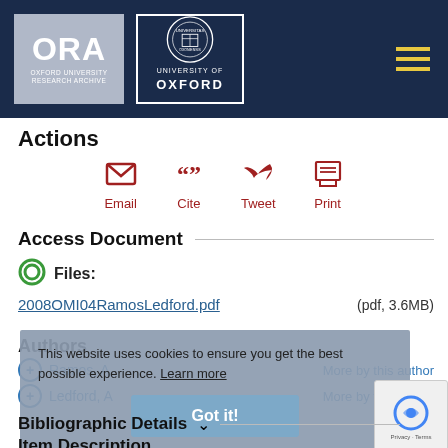[Figure (logo): ORA Oxford University Research Archive logo and University of Oxford crest logo on dark navy header bar]
Actions
[Figure (infographic): Action icons: Email, Cite, Tweet, Print in dark red]
Access Document
Files:
2008OMI04RamosLedford.pdf   (pdf, 3.6MB)
Authors
Ramos, A   More by this author
Ledford, A   More by this author
This website uses cookies to ensure you get the best possible experience. Learn more
Bibliographic Details
Item Description